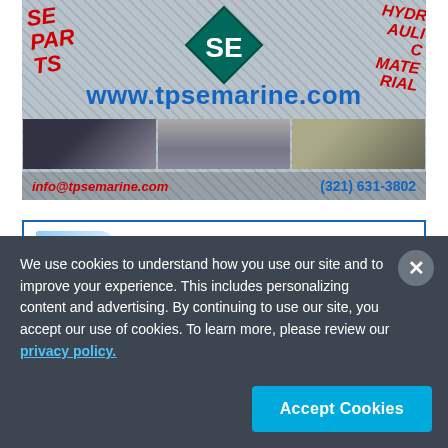[Figure (other): TPS Marine advertisement with diamond plate background, SE logo, parts/hydraulic text, www.tpsemarine.com URL, marine equipment photos, info@tpsemarine.com email, and (321) 631-3802 phone number]
[Figure (other): Blount advertisement: Leading US Builder of CREW TRANSFER with Blount logo]
We use cookies to understand how you use our site and to improve your experience. This includes personalizing content and advertising. By continuing to use our site, you accept our use of cookies. To learn more, please review our privacy policy.
Accept Cookies